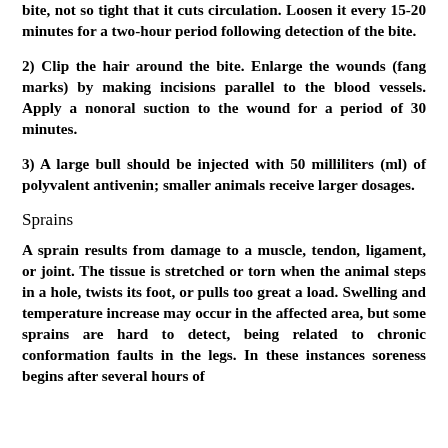1) Apply wide tourniquet five cm above the bite, not so tight that it cuts circulation. Loosen it every 15-20 minutes for a two-hour period following detection of the bite.
2) Clip the hair around the bite. Enlarge the wounds (fang marks) by making incisions parallel to the blood vessels. Apply a nonoral suction to the wound for a period of 30 minutes.
3) A large bull should be injected with 50 milliliters (ml) of polyvalent antivenin; smaller animals receive larger dosages.
Sprains
A sprain results from damage to a muscle, tendon, ligament, or joint. The tissue is stretched or torn when the animal steps in a hole, twists its foot, or pulls too great a load. Swelling and temperature increase may occur in the affected area, but some sprains are hard to detect, being related to chronic conformation faults in the legs. In these instances soreness begins after several hours of